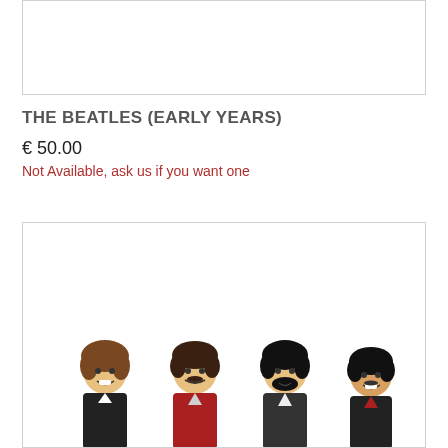[Figure (photo): Top product image box (empty/white)]
THE BEATLES (EARLY YEARS)
€ 50.00
Not Available, ask us if you want one
[Figure (photo): Four LEGO minifigures representing The Beatles (early years), showing heads and upper torsos with characteristic hairstyles, visible at the bottom of a white-bordered product image box.]